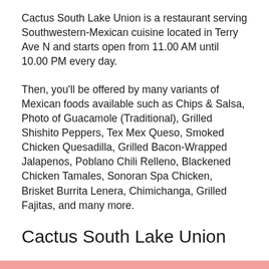Cactus South Lake Union is a restaurant serving Southwestern-Mexican cuisine located in Terry Ave N and starts open from 11.00 AM until 10.00 PM every day.
Then, you'll be offered by many variants of Mexican foods available such as Chips & Salsa, Photo of Guacamole (Traditional), Grilled Shishito Peppers, Tex Mex Queso, Smoked Chicken Quesadilla, Grilled Bacon-Wrapped Jalapenos, Poblano Chili Relleno, Blackened Chicken Tamales, Sonoran Spa Chicken, Brisket Burrita Lenera, Chimichanga, Grilled Fajitas, and many more.
Cactus South Lake Union